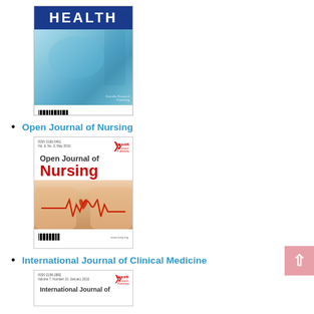[Figure (illustration): Health journal cover with blue medical theme, stethoscope and health technology imagery, blue title bar at top with 'HEALTH' in white bold text, barcode at bottom]
Open Journal of Nursing
[Figure (illustration): Open Journal of Nursing cover with white background, red 'Open Journal of' text and large red 'Nursing' title, hands holding heart with ECG line image below, Scientific Research Publishing logo top right, barcode at bottom]
International Journal of Clinical Medicine
[Figure (illustration): International Journal of Clinical Medicine cover, partially visible at bottom of page, showing ISSN number and Scientific Research Publishing logo, with 'International Journal of' text visible]